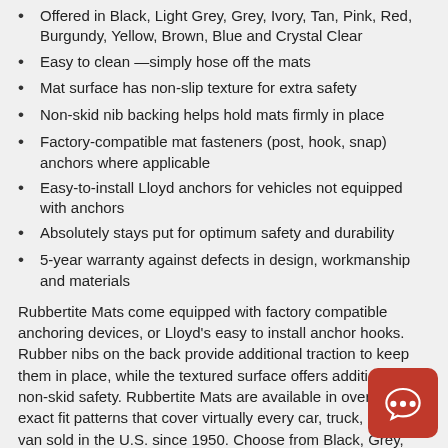Offered in Black, Light Grey, Grey, Ivory, Tan, Pink, Red, Burgundy, Yellow, Brown, Blue and Crystal Clear
Easy to clean —simply hose off the mats
Mat surface has non-slip texture for extra safety
Non-skid nib backing helps hold mats firmly in place
Factory-compatible mat fasteners (post, hook, snap) anchors where applicable
Easy-to-install Lloyd anchors for vehicles not equipped with anchors
Absolutely stays put for optimum safety and durability
5-year warranty against defects in design, workmanship and materials
Rubbertite Mats come equipped with factory compatible anchoring devices, or Lloyd's easy to install anchor hooks. Rubber nibs on the back provide additional traction to keep them in place, while the textured surface offers additional non-skid safety. Rubbertite Mats are available in over 10,000 exact fit patterns that cover virtually every car, truck, SUV and van sold in the U.S. since 1950. Choose from Black, Grey, Light Grey, Tan, Ivory, White, Yellow, Pink, Red, Dk Blue, Burgundy, Brown and Crystal Clear